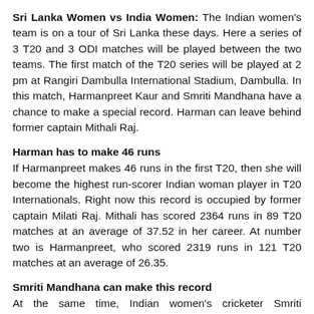Sri Lanka Women vs India Women: The Indian women's team is on a tour of Sri Lanka these days. Here a series of 3 T20 and 3 ODI matches will be played between the two teams. The first match of the T20 series will be played at 2 pm at Rangiri Dambulla International Stadium, Dambulla. In this match, Harmanpreet Kaur and Smriti Mandhana have a chance to make a special record. Harman can leave behind former captain Mithali Raj.
Harman has to make 46 runs
If Harmanpreet makes 46 runs in the first T20, then she will become the highest run-scorer Indian woman player in T20 Internationals. Right now this record is occupied by former captain Milati Raj. Mithali has scored 2364 runs in 89 T20 matches at an average of 37.52 in her career. At number two is Harmanpreet, who scored 2319 runs in 121 T20 matches at an average of 26.35.
Smriti Mandhana can make this record
At the same time, Indian women's cricketer Smriti Mandhana has scored 1971 runs in T20 so far. She is the third Indian woman player to score the most runs in T20. She will complete 2000 runs in T20 International as soon as she makes 29 runs in today's match. In such a situation, Mandhana will join the club of former Indian captain Mithali and Indian captain Rohit Sharma. S...